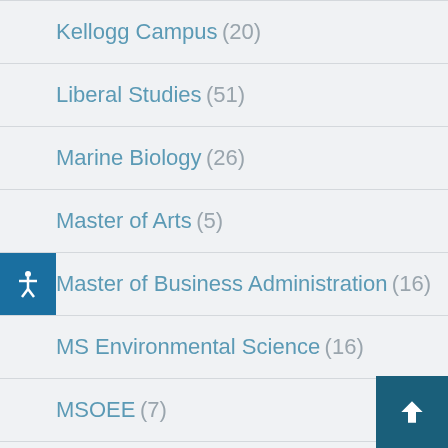Kellogg Campus (20)
Liberal Studies (51)
Marine Biology (26)
Master of Arts (5)
Master of Business Administration (16)
MS Environmental Science (16)
MSOEE (7)
News Page (5)
Newsletter (4)